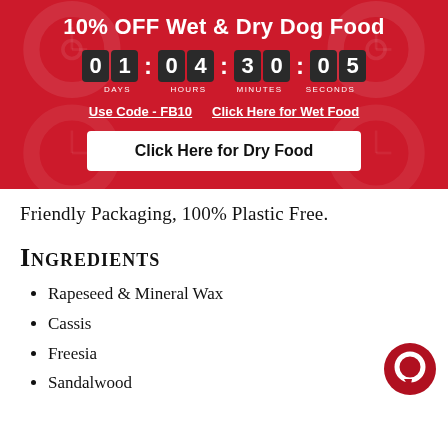10% OFF Wet & Dry Dog Food
[Figure (infographic): Countdown timer showing 01 days, 04 hours, 30 minutes, 05 seconds on dark digit blocks against red background]
Use Code - FB10   Click Here for Wet Food
Click Here for Dry Food
Friendly Packaging, 100% Plastic Free.
Ingredients
Rapeseed & Mineral Wax
Cassis
Freesia
Sandalwood